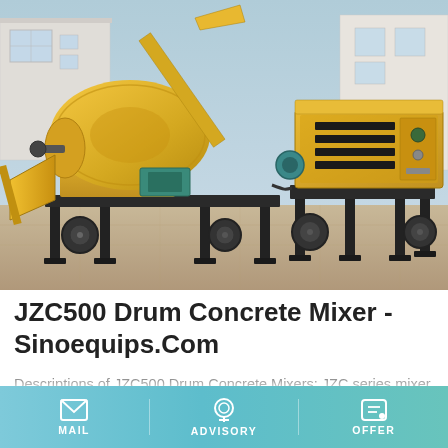[Figure (photo): Yellow JZC500 drum concrete mixer machine with black frame and legs, sitting on a paved surface outdoors. A second yellow generator/motor unit is visible to the right. Buildings and light blue sky visible in background.]
JZC500 Drum Concrete Mixer - Sinoequips.Com
Descriptions of JZC500 Drum Concrete Mixers: JZC series mixer is a gravity type of double-conic reversing drum concrete mixer, the drum transit by gear or friction wheel, the drum rotates clockwise during mixing and anti-clockwise during discharging. It is portable and movable. The mixer can
MAIL   ADVISORY   OFFER